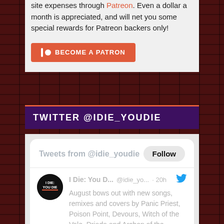site expenses through Patreon. Even a dollar a month is appreciated, and will net you some special rewards for Patreon backers only!
BECOME A PATRON
TWITTER @IDIE_YOUDIE
[Figure (screenshot): Twitter widget showing tweets from @idie_youdie with a Follow button, and a tweet from I Die: You D... @idie_yo... · 20h about August bows out with new songs, remixes and covers by Panic Priest, Poison Point, Devours, Witch of the Vale, Driada and Archon of the Fairlight. Link: idieyoudie.com/2022/08/29/tra...]